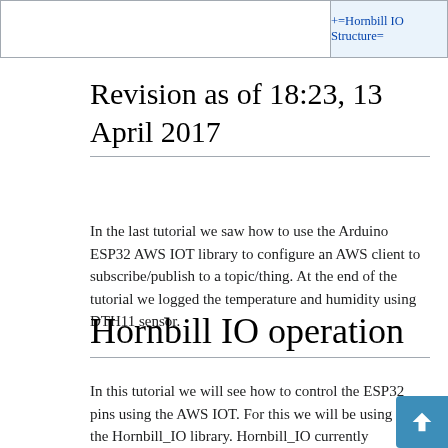|  | +=Hornbill IO Structure= |
| --- | --- |
|  |
Revision as of 18:23, 13 April 2017
In the last tutorial we saw how to use the Arduino ESP32 AWS IOT library to configure an AWS client to subscribe/publish to a topic/thing. At the end of the tutorial we logged the temperature and humidity using DTH11 sensor.
Hornbill IO operation
In this tutorial we will see how to control the ESP32 pins using the AWS IOT. For this we will be using the Hornbill_IO library. Hornbill_IO currently supports the below four operation which will be extended in the near future.